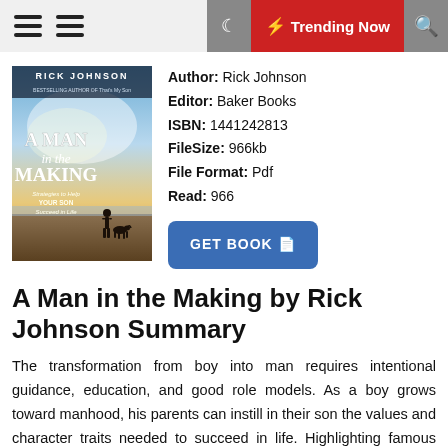Trending Now
[Figure (illustration): Book cover of 'A Man in the Making' by Rick Johnson, showing a boy and a dog silhouetted on a beach at sunset with dramatic sky. Subtitle: Strategies to Help YOUR SON Succeed in Life.]
Author: Rick Johnson
Editor: Baker Books
ISBN: 1441242813
FileSize: 966kb
File Format: Pdf
Read: 966
A Man in the Making by Rick Johnson Summary
The transformation from boy into man requires intentional guidance, education, and good role models. As a boy grows toward manhood, his parents can instill in their son the values and character traits needed to succeed in life. Highlighting famous Christian men throughout history and the character trait that made